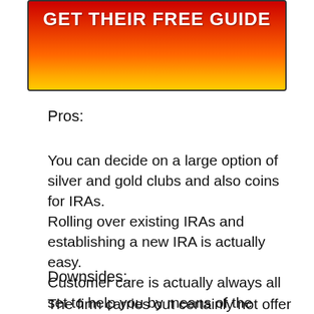[Figure (illustration): Red to orange/yellow gradient banner with bold white text reading 'GET THEIR FREE GUIDE']
Pros:
You can decide on a large option of silver and gold clubs and also coins for IRAs.
Rolling over existing IRAs and establishing a new IRA is actually easy.
Customer care is actually always all set to help you by means of the process.
Better Business Bureau company score is A+.
Downsides:.
The firm carries out certainly not offer